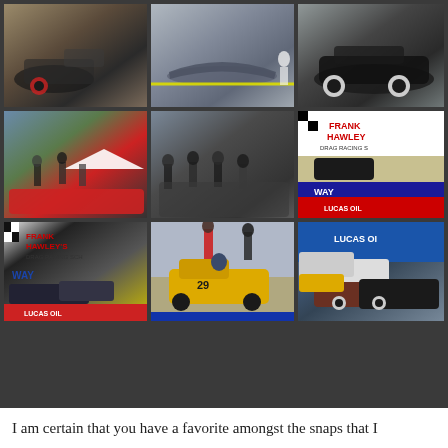[Figure (photo): 3x3 grid of nine photographs from a drag racing event showing hot rods, classic cars, crowds of spectators, Frank Hawley's Drag Racing School signage, Lucas Oil branding, and vintage cars on a drag strip]
I am certain that you have a favorite amongst the snaps that I